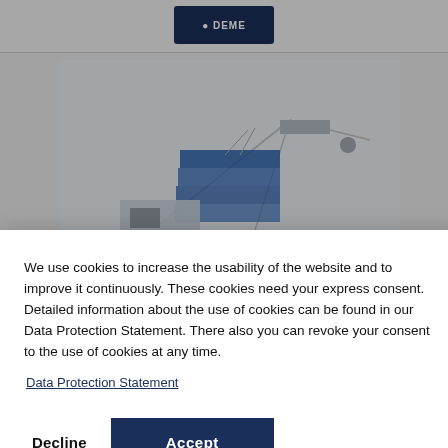[Figure (screenshot): Website screenshot showing top navigation bar with company logo (blue rounded rectangle), an industrial equipment/crane photo partially visible, a sidebar with gray navigation elements, and a dark blue footer bar.]
We use cookies to increase the usability of the website and to improve it continuously. These cookies need your express consent. Detailed information about the use of cookies can be found in our Data Protection Statement. There also you can revoke your consent to the use of cookies at any time.
Data Protection Statement
Decline  Accept
> EHSC control / working cage